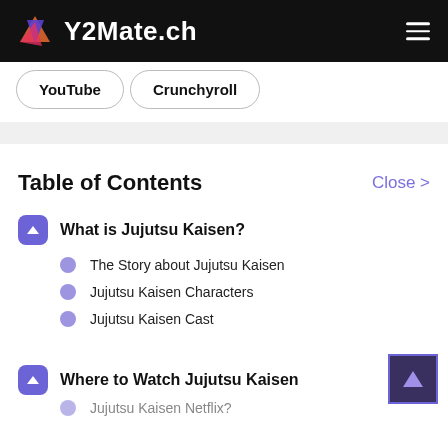Y2Mate.ch
YouTube
Crunchyroll
Table of Contents
Close >
What is Jujutsu Kaisen?
The Story about Jujutsu Kaisen
Jujutsu Kaisen Characters
Jujutsu Kaisen Cast
Where to Watch Jujutsu Kaisen
Jujutsu Kaisen Netflix?